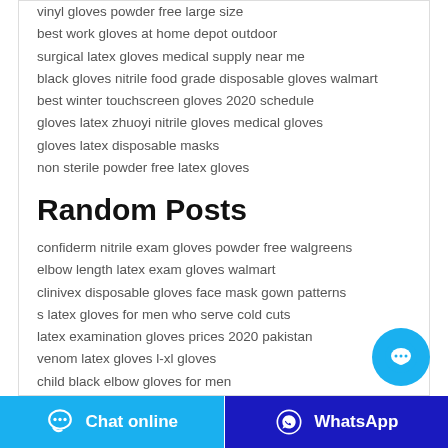vinyl gloves powder free large size
best work gloves at home depot outdoor
surgical latex gloves medical supply near me
black gloves nitrile food grade disposable gloves walmart
best winter touchscreen gloves 2020 schedule
gloves latex zhuoyi nitrile gloves medical gloves
gloves latex disposable masks
non sterile powder free latex gloves
Random Posts
confiderm nitrile exam gloves powder free walgreens
elbow length latex exam gloves walmart
clinivex disposable gloves face mask gown patterns
s latex gloves for men who serve cold cuts
latex examination gloves prices 2020 pakistan
venom latex gloves l-xl gloves
child black elbow gloves for men
xl string knit gloves with dots
Chat online | WhatsApp